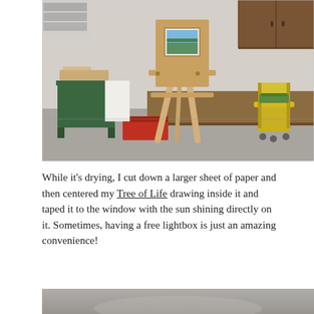[Figure (photo): An art studio or workshop space with a wooden easel in the center holding a cardboard and a small painting. To the left is a green wooden table/stand with some materials on top. In the background are wooden cabinets, a work desk, and a yellow rolling office chair. The floor is concrete gray.]
While it’s drying, I cut down a larger sheet of paper and then centered my Tree of Life drawing inside it and taped it to the window with the sun shining directly on it. Sometimes, having a free lightbox is just an amazing convenience!
[Figure (photo): Partial bottom photo, showing a gray/beige blurred surface, likely the beginning of another art-related photograph.]